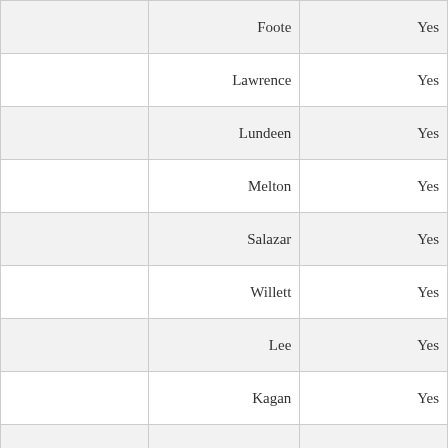|  | Name | Vote |
| --- | --- | --- |
|  | Foote | Yes |
|  | Lawrence | Yes |
|  | Lundeen | Yes |
|  | Melton | Yes |
|  | Salazar | Yes |
|  | Willett | Yes |
|  | Lee | Yes |
|  | Kagan | Yes |
|  |  |  |
Final YES: 11 NO: 0 EXC: 0 ABS: 0 FINAL ACTION: PASS